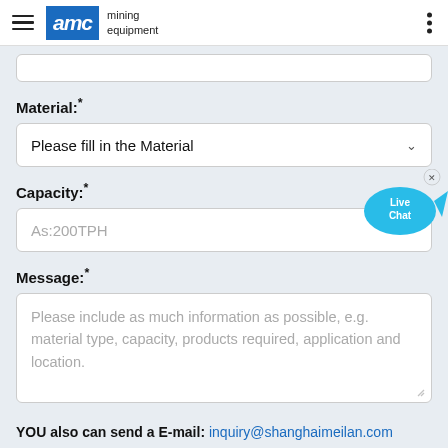AMC mining equipment
Material:*
Please fill in the Material
Capacity:*
As:200TPH
Message:*
Please include as much information as possible, e.g. material type, capacity, products required, application and location.
YOU also can send a E-mail: inquiry@shanghaimeilan.com
We don't share customer information and we hate spam.
[Figure (illustration): Live Chat bubble icon — a cyan speech bubble with 'Live Chat' text and a small x close button]